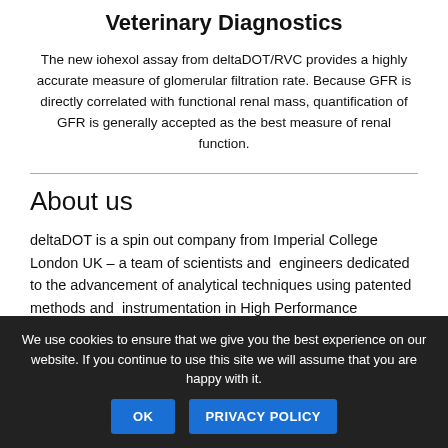Veterinary Diagnostics
The new iohexol assay from deltaDOT/RVC provides a highly accurate measure of glomerular filtration rate. Because GFR is directly correlated with functional renal mass, quantification of GFR is generally accepted as the best measure of renal function.
About us
deltaDOT is a spin out company from Imperial College London UK – a team of scientists and engineers dedicated to the advancement of analytical techniques using patented methods and instrumentation in High Performance
We use cookies to ensure that we give you the best experience on our website. If you continue to use this site we will assume that you are happy with it.